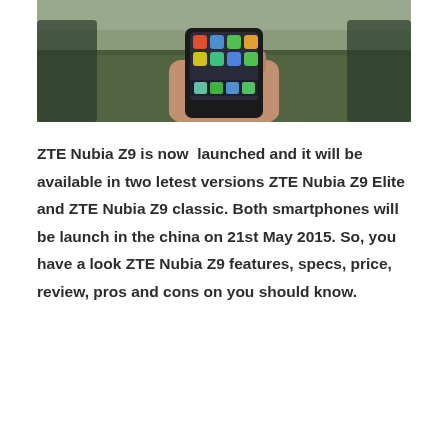[Figure (photo): A hand holding a ZTE Nubia Z9 smartphone displaying the home screen with app icons, photographed outdoors against a blurred background.]
ZTE Nubia Z9 is now  launched and it will be available in two letest versions ZTE Nubia Z9 Elite and ZTE Nubia Z9 classic. Both smartphones will be launch in the china on 21st May 2015. So, you have a look ZTE Nubia Z9 features, specs, price, review, pros and cons on you should know.